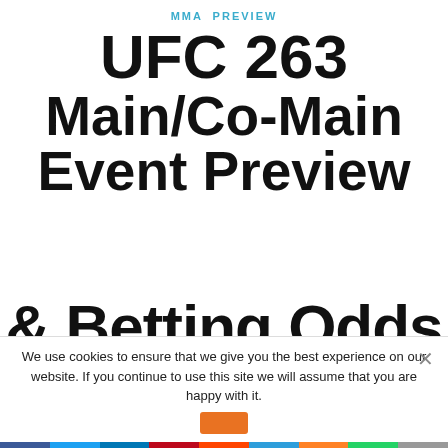MMA PREVIEW
UFC 263 Main/Co-Main Event Preview
We use cookies to ensure that we give you the best experience on our website. If you continue to use this site we will assume that you are happy with it.
[Figure (infographic): Social sharing bar with Facebook, Twitter, LinkedIn, Pinterest, Reddit, MeWe, Mix, WhatsApp, and More buttons]